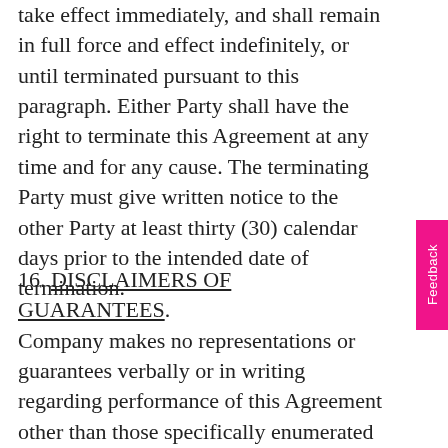take effect immediately, and shall remain in full force and effect indefinitely, or until terminated pursuant to this paragraph. Either Party shall have the right to terminate this Agreement at any time and for any cause. The terminating Party must give written notice to the other Party at least thirty (30) calendar days prior to the intended date of termination.
16. DISCLAIMERS OF GUARANTEES.
Company makes no representations or guarantees verbally or in writing regarding performance of this Agreement other than those specifically enumerated herein. You accept that, because of the nature of Affiliate Program any results experienced by different affiliates significantly the